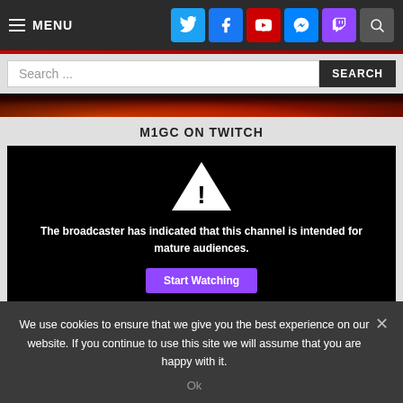≡ MENU
Search ...
M1GC ON TWITCH
[Figure (screenshot): Twitch player showing a mature content warning. A white warning triangle with exclamation point is shown on a black background with text: 'The broadcaster has indicated that this channel is intended for mature audiences.' and a purple 'Start Watching' button partially visible.]
We use cookies to ensure that we give you the best experience on our website. If you continue to use this site we will assume that you are happy with it.
Ok